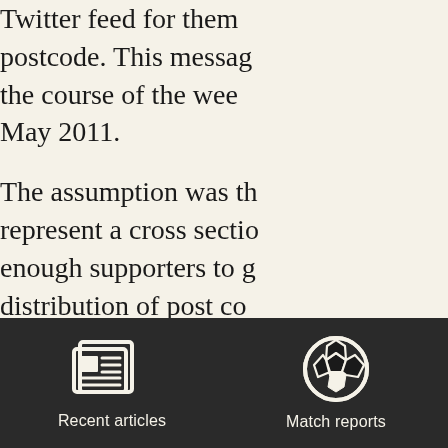Twitter feed for them postcode. This message the course of the week May 2011.

The assumption was th represent a cross sectio enough supporters to g distribution of post co assumed that responde supporters who went t
[Figure (other): Dark navigation bar with two icons: a newspaper/articles icon labeled 'Recent articles' and a soccer ball icon labeled 'Match reports']